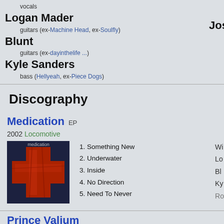vocals
Logan Mader
guitars (ex-Machine Head, ex-Soulfly)
Blunt
guitars (ex-dayinthelife ...)
Kyle Sanders
bass (Hellyeah, ex-Piece Dogs)
Discography
Medication EP
2002 Locomotive
[Figure (photo): Album cover for Medication EP showing a red cross on dark blue background]
1. Something New
2. Underwater
3. Inside
4. No Direction
5. Need To Never
Prince Valium